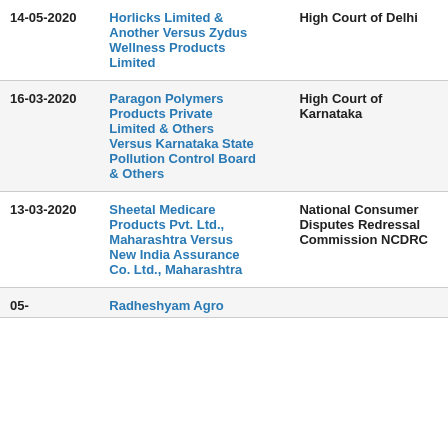| Date | Case | Court |
| --- | --- | --- |
| 14-05-2020 | Horlicks Limited & Another Versus Zydus Wellness Products Limited | High Court of Delhi |
| 16-03-2020 | Paragon Polymers Products Private Limited & Others Versus Karnataka State Pollution Control Board & Others | High Court of Karnataka |
| 13-03-2020 | Sheetal Medicare Products Pvt. Ltd., Maharashtra Versus New India Assurance Co. Ltd., Maharashtra | National Consumer Disputes Redressal Commission NCDRC |
| 05-... | Radheshyam Agro |  |
[Figure (infographic): Navigation bar with three buttons: Intro (home icon), Search (magnifying glass icon), Report (document icon), shown on blue dashed-border background]